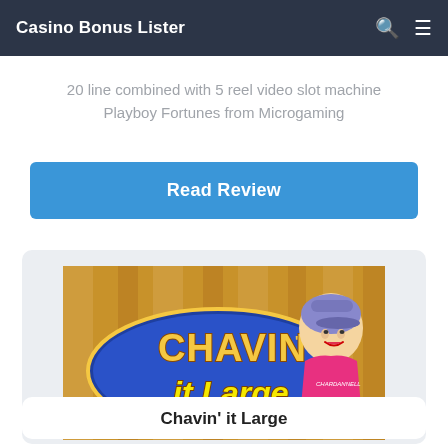Casino Bonus Lister
20 line combined with 5 reel video slot machine Playboy Fortunes from Microgaming
Read Review
[Figure (illustration): Chavin it Large slot game logo with a cartoon woman in pink top and cap, on a golden/tan background]
Chavin' it Large